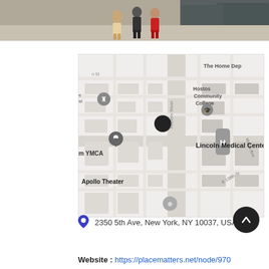[Figure (photo): Street photo showing people walking on a sidewalk with parked cars, cropped at the top of the page]
[Figure (map): Google Maps screenshot showing the Harlem neighborhood of New York City. Landmarks visible: The Home Depot, Hostos Community College, Lincoln Medical Center, Apollo Theater, m YMCA. A black location pin marks Lincoln Medical Center area. E 138th St and Morris Ave street labels visible.]
2350 5th Ave, New York, NY 10037, USA
Website : https://placematters.net/node/970